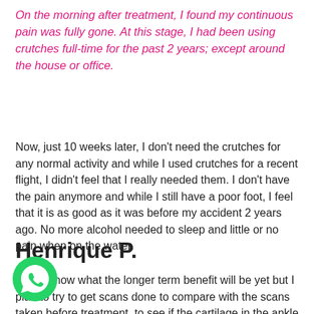On the morning after treatment, I found my continuous pain was fully gone. At this stage, I had been using crutches full-time for the past 2 years; except around the house or office.
Now, just 10 weeks later, I don't need the crutches for any normal activity and while I used crutches for a recent flight, I didn't feel that I really needed them. I don't have the pain anymore and while I still have a poor foot, I feel that it is as good as it was before my accident 2 years ago. No more alcohol needed to sleep and little or no pain when on the water.
Henrique P.
I don't know what the longer term benefit will be yet but I plan to try to get scans done to compare with the scans taken before treatment, to see if the cartilage in the ankle and foot is improving and re-growing.
[Figure (illustration): WhatsApp contact button icon - green circle with white phone handset]